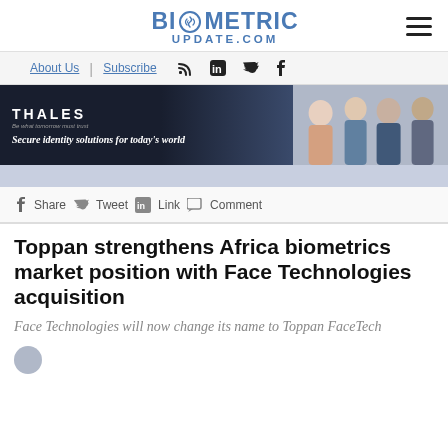BIOMETRIC UPDATE.COM
[Figure (logo): Biometric Update.com website logo with fingerprint icon]
About Us | Subscribe
[Figure (infographic): Thales advertisement banner: Secure identity solutions for today's world, with group of people photo]
f Share  Tweet  in Link  Comment
Toppan strengthens Africa biometrics market position with Face Technologies acquisition
Face Technologies will now change its name to Toppan FaceTech